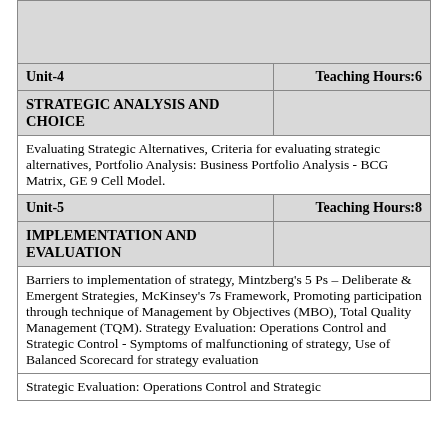| Unit-4 | Teaching Hours:6 |
| STRATEGIC ANALYSIS AND CHOICE |  |
| Evaluating Strategic Alternatives, Criteria for evaluating strategic alternatives, Portfolio Analysis: Business Portfolio Analysis - BCG Matrix, GE 9 Cell Model. |  |
| Unit-5 | Teaching Hours:8 |
| IMPLEMENTATION AND EVALUATION |  |
| Barriers to implementation of strategy, Mintzberg's 5 Ps – Deliberate & Emergent Strategies, McKinsey's 7s Framework, Promoting participation through technique of Management by Objectives (MBO), Total Quality Management (TQM). Strategy Evaluation: Operations Control and Strategic Control - Symptoms of malfunctioning of strategy, Use of Balanced Scorecard for strategy evaluation |  |
| Strategic Evaluation: Operations Control and Strategic |  |